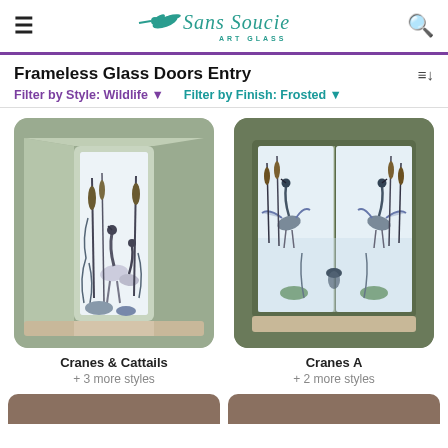Sans Soucie Art Glass
Frameless Glass Doors Entry
Filter by Style: Wildlife ▼   Filter by Finish: Frosted ▼
[Figure (photo): Frameless glass door with cranes and cattails etched design in frosted finish, shown in sage green door frame display]
Cranes & Cattails
+ 3 more styles
[Figure (photo): Double frameless glass doors with cranes A wildlife design in frosted finish, shown in dark green frame display]
Cranes A
+ 2 more styles